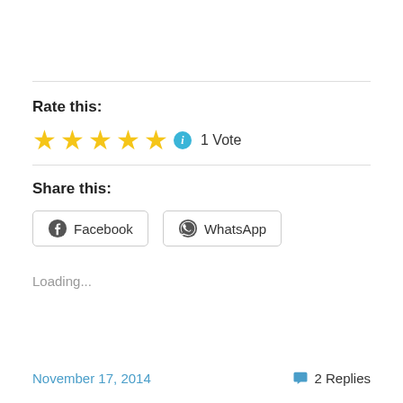Rate this:
[Figure (infographic): Five gold stars rating with info icon and '1 Vote' text]
Share this:
[Figure (infographic): Facebook and WhatsApp share buttons]
Loading...
November 17, 2014   2 Replies